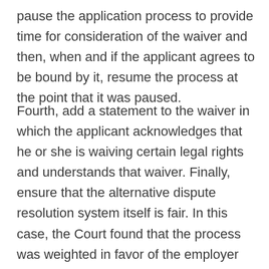pause the application process to provide time for consideration of the waiver and then, when and if the applicant agrees to be bound by it, resume the process at the point that it was paused.
Fourth, add a statement to the waiver in which the applicant acknowledges that he or she is waiving certain legal rights and understands that waiver. Finally, ensure that the alternative dispute resolution system itself is fair. In this case, the Court found that the process was weighted in favor of the employer since the final step of the appeal was heard by a Board consisting of two managers chosen by management and three employees chosen by the appealing